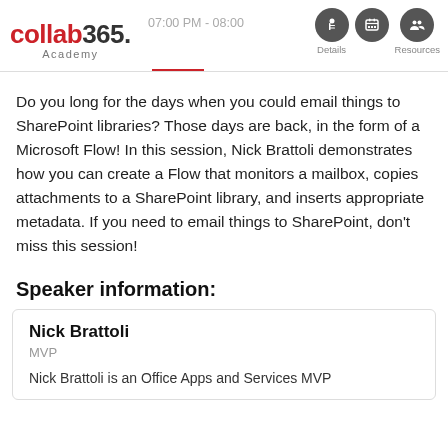collab365. Academy | 07:00 PM - 08:00 | Details | Resources
Do you long for the days when you could email things to SharePoint libraries? Those days are back, in the form of a Microsoft Flow! In this session, Nick Brattoli demonstrates how you can create a Flow that monitors a mailbox, copies attachments to a SharePoint library, and inserts appropriate metadata. If you need to email things to SharePoint, don't miss this session!
Speaker information:
Nick Brattoli
MVP

Nick Brattoli is an Office Apps and Services MVP